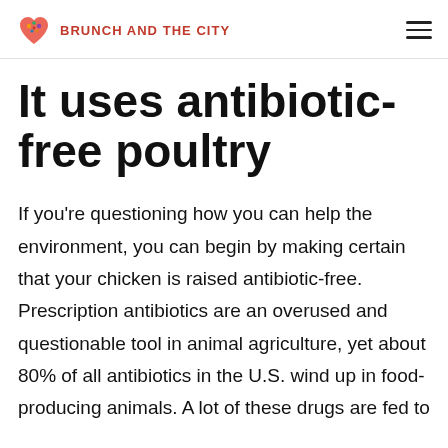BRUNCH AND THE CITY
It uses antibiotic-free poultry
If you're questioning how you can help the environment, you can begin by making certain that your chicken is raised antibiotic-free. Prescription antibiotics are an overused and questionable tool in animal agriculture, yet about 80% of all antibiotics in the U.S. wind up in food-producing animals. A lot of these drugs are fed to